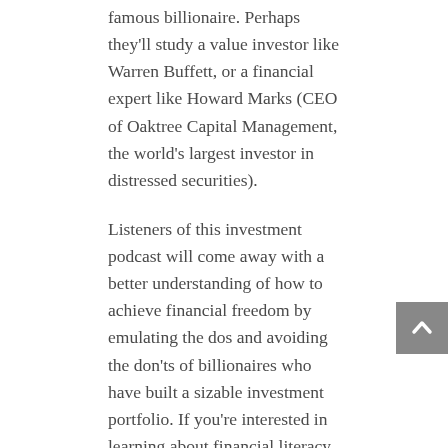famous billionaire. Perhaps they'll study a value investor like Warren Buffett, or a financial expert like Howard Marks (CEO of Oaktree Capital Management, the world's largest investor in distressed securities).
Listeners of this investment podcast will come away with a better understanding of how to achieve financial freedom by emulating the dos and avoiding the don'ts of billionaires who have built a sizable investment portfolio. If you're interested in learning about financial literacy but also biographies, this the podcast for you! It's a great way to learn about the investing strategies of some of the world's wealthiest and most successful people.
9. The Stacking Benjamins Podcast
This is a podcast for anyone who wants to learn about financial independence in a more casual, conversational, sort of water-cooler talk manner. Joe Saul-Sehy hosts a tri-weekly hour-long (sometimes 1.5